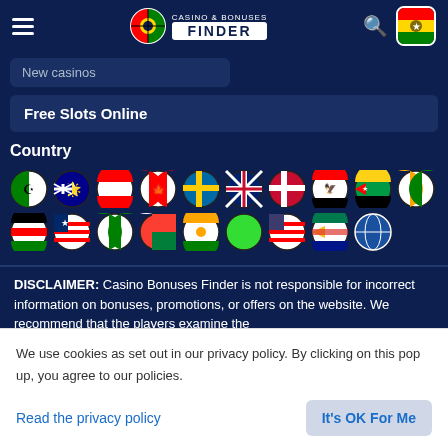Casino & Bonuses Finder - Navigation bar with logo, hamburger menu, search and flag icon
New casinos
Free Slots Online
Country
[Figure (illustration): Grid of circular country flag icons: Algeria, Australia, Austria, Canada, Sweden, UK, Denmark, Egypt, Mozambique, Ivory Coast, Kenya, Liberia, Nigeria, Madagascar, Niger, Nigeria, USA, South Africa, and a globe icon]
DISCLAIMER: Casino Bonuses Finder is not responsible for incorrect information on bonuses, promotions, or offers on the website. We recommend that the players examine the
We use cookies as set out in our privacy policy. By clicking on this pop up, you agree to our policies.
Read the privacy policy
It's OK For Me